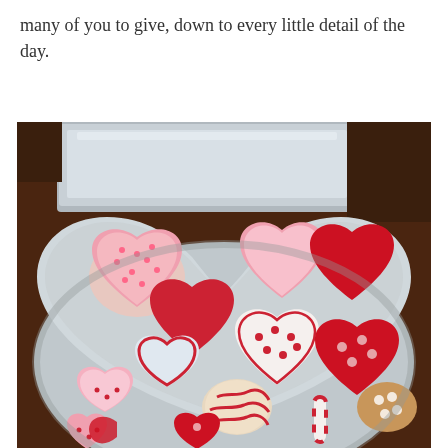many of you to give, down to every little detail of the day.
[Figure (photo): A heart-shaped aluminum foil pan filled with decorated Valentine's Day sugar cookies in various heart shapes, iced in red, pink, and white frosting with dots, stripes, and sprinkle patterns. In the background is a silver baking pan on a dark wooden surface.]